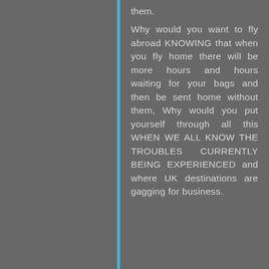them.
Why would you want to fly abroad KNOWING that when you fly home there will be more hours and hours waiting for your bags and then be sent home without them, Why would you put yourself through all this WHEN WE ALL KNOW THE TROUBLES CURRENTLY BEING EXPERIENCED and where UK destinations are gagging for business.